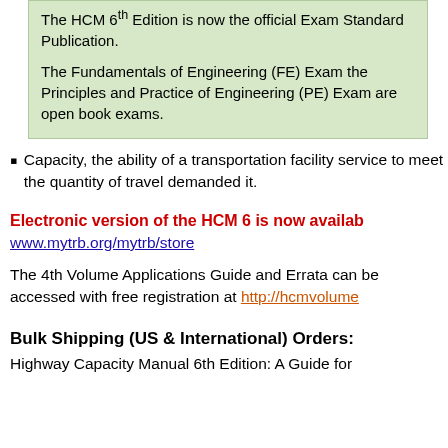The HCM 6th Edition is now the official Exam Standard Publication.

The Fundamentals of Engineering (FE) Exam the Principles and Practice of Engineering (PE) Exam are open book exams.
Capacity, the ability of a transportation facility service to meet the quantity of travel demanded it.
Electronic version of the HCM 6 is now available www.mytrb.org/mytrb/store
The 4th Volume Applications Guide and Errata can be accessed with free registration at http://hcmvolume
Bulk Shipping (US & International) Orders:
Highway Capacity Manual 6th Edition: A Guide for